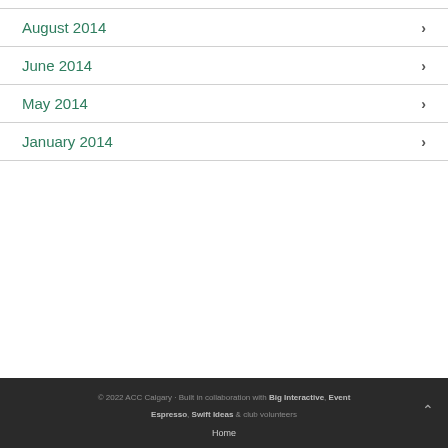August 2014
June 2014
May 2014
January 2014
© 2022 ACC Calgary · Built in collaboration with Big Interactive, Event Espresso, Swift Ideas & club volunteers
Home